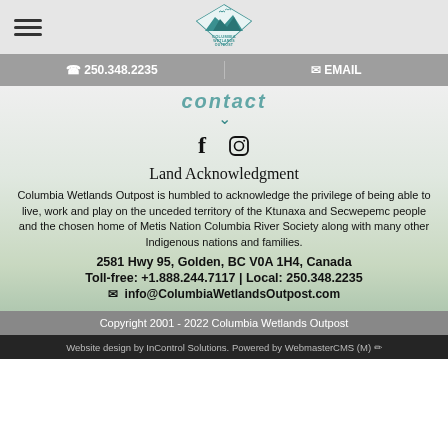Columbia Wetlands Outpost — Navigation header with hamburger menu and logo
☎ 250.348.2235    ✉ EMAIL
contact (partial, cut off at top)
[Figure (logo): Columbia Wetlands Outpost logo — diamond shape with teal mountains and birds, text COLUMBIA WETLANDS OUTPOST]
f  (Facebook icon)  (Instagram icon)
Land Acknowledgment
Columbia Wetlands Outpost is humbled to acknowledge the privilege of being able to live, work and play on the unceded territory of the Ktunaxa and Secwepemc people and the chosen home of Metis Nation Columbia River Society along with many other Indigenous nations and families.
2581 Hwy 95, Golden, BC V0A 1H4, Canada
Toll-free: +1.888.244.7117 | Local: 250.348.2235
✉  info@ColumbiaWetlandsOutpost.com
Copyright 2001 - 2022 Columbia Wetlands Outpost
Website design by InControl Solutions. Powered by WebmasterCMS (M) ✏